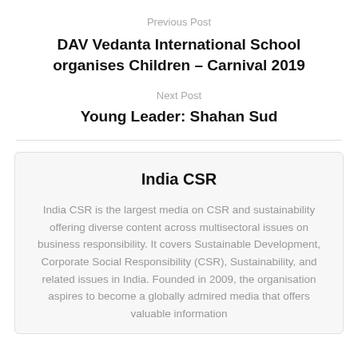Previous Post
DAV Vedanta International School organises Children – Carnival 2019
Next Post
Young Leader: Shahan Sud
India CSR
India CSR is the largest media on CSR and sustainability offering diverse content across multisectoral issues on business responsibility. It covers Sustainable Development, Corporate Social Responsibility (CSR), Sustainability, and related issues in India. Founded in 2009, the organisation aspires to become a globally admired media that offers valuable information